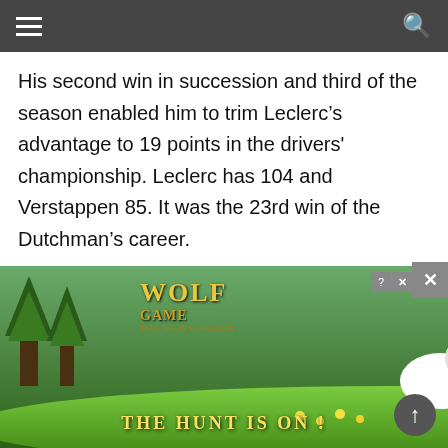His second win in succession and third of the season enabled him to trim Leclerc’s advantage to 19 points in the drivers' championship. Leclerc has 104 and Verstappen 85. It was the 23rd win of the Dutchman’s career.
"It was an incredible Grand Prix, very physical as well, but I think we kept it exciting until the end," said Verstappen, interviewed by retired Ame[rican driver]ace.
Whe[n asked] to "get into[ the zone...] 'I think
[Figure (screenshot): Wolf Game - The Wild Kingdom advertisement showing wolves in a forest setting with text 'THE HUNT IS ON!' in yellow letters. Includes ad close controls and an outer X close button.]